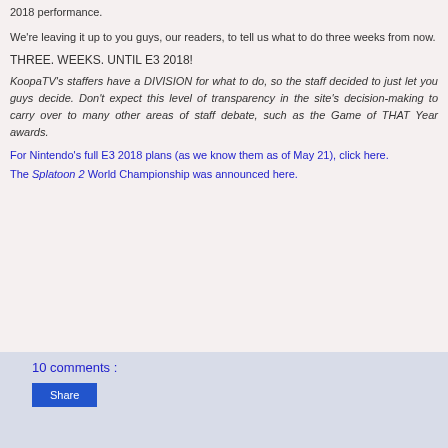2018 performance.
We're leaving it up to you guys, our readers, to tell us what to do three weeks from now.
THREE. WEEKS. UNTIL E3 2018!
KoopaTV's staffers have a DIVISION for what to do, so the staff decided to just let you guys decide. Don't expect this level of transparency in the site's decision-making to carry over to many other areas of staff debate, such as the Game of THAT Year awards.
For Nintendo's full E3 2018 plans (as we know them as of May 21), click here.
The Splatoon 2 World Championship was announced here.
10 comments :
Share